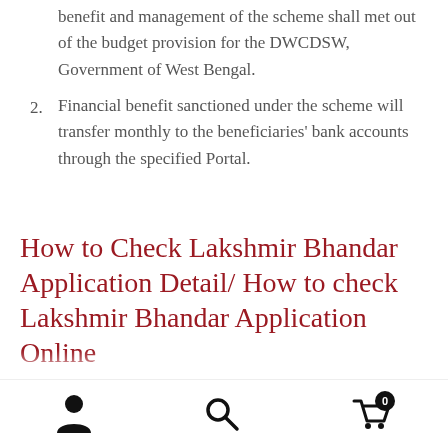benefit and management of the scheme shall met out of the budget provision for the DWCDSW, Government of West Bengal.
Financial benefit sanctioned under the scheme will transfer monthly to the beneficiaries' bank accounts through the specified Portal.
How to Check Lakshmir Bhandar Application Detail/ How to check Lakshmir Bhandar Application Online
Navigation bar with user, search, and cart (0) icons